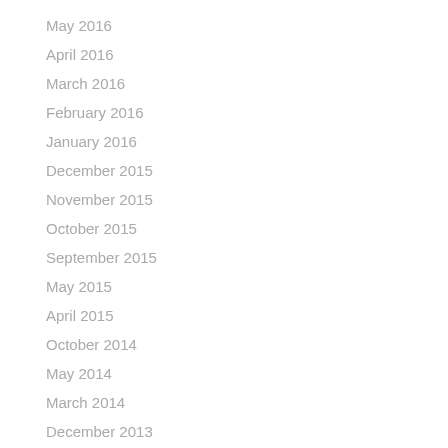May 2016
April 2016
March 2016
February 2016
January 2016
December 2015
November 2015
October 2015
September 2015
May 2015
April 2015
October 2014
May 2014
March 2014
December 2013